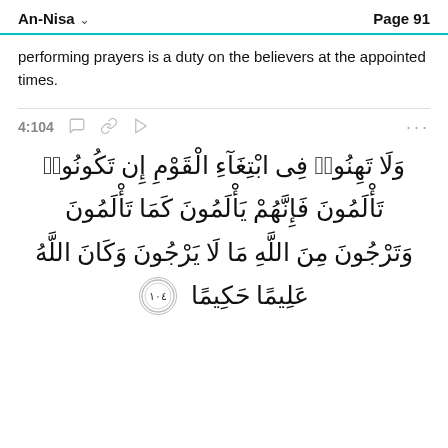An-Nisa   Page 91
performing prayers is a duty on the believers at the appointed times.
4:104
[Figure (other): Arabic Quranic verse 4:104: وَلَا تَهِنُوا۟ فِى ٱبْتِغَآءِ ٱلْقَوْمِ إِن تَكُونُوا۟ تَأْلَمُونَ فَإِنَّهُمْ يَأْلَمُونَ كَمَا تَأْلَمُونَ وَتَرْجُونَ مِنَ ٱللَّهِ مَا لَا يَرْجُونَ وَكَانَ ٱللَّهُ عَلِيمًا حَكِيمًا ١٠٤]